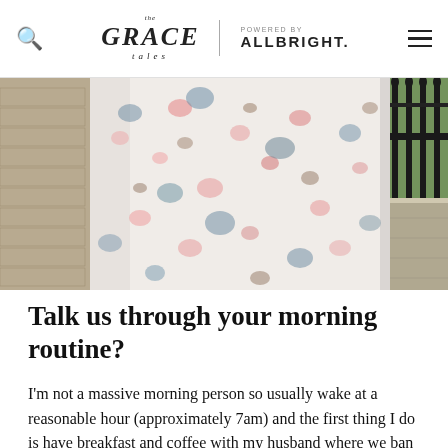The Grace Tales | POWERED BY ALLBRIGHT.
[Figure (photo): Close-up photograph of a person wearing a floral patterned top (white with pink and blue/grey floral pattern), standing near a stone wall and black iron railings with green foliage visible in the background.]
Talk us through your morning routine?
I'm not a massive morning person so usually wake at a reasonable hour (approximately 7am) and the first thing I do is have breakfast and coffee with my husband where we ban emails and phones. It really